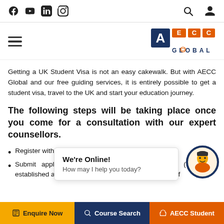Social icons: Facebook, YouTube, LinkedIn, Instagram | Search | User account
[Figure (logo): AECC Global logo — blue square with A, orange squares with E, C, C in white; text GLOBAL below]
Getting a UK Student Visa is not an easy cakewalk. But with AECC Global and our free guiding services, it is entirely possible to get a student visa, travel to the UK and start your education journey.
The following steps will be taking place once you come for a consultation with our expert counsellors.
Register with AECC [...]lta our counsellors.
Submit applications to universities with our help (We have established a great professional bond with every one of [the universities])
[Figure (screenshot): Chat popup: 'We're Online! How may I help you today?' with avatar icon]
Enquire Now | Course Search | AECC Student